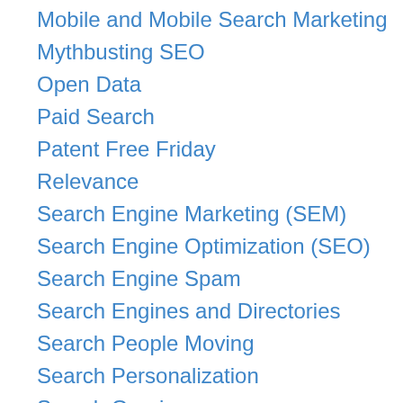Mobile and Mobile Search Marketing
Mythbusting SEO
Open Data
Paid Search
Patent Free Friday
Relevance
Search Engine Marketing (SEM)
Search Engine Optimization (SEO)
Search Engine Spam
Search Engines and Directories
Search People Moving
Search Personalization
Search Queries
Semantic SEO
SEO Classics